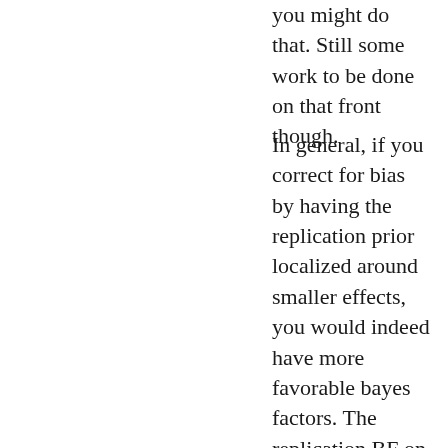you might do that. Still some work to be done on that front though.
In general, if you correct for bias by having the replication prior localized around smaller effects, you would indeed have more favorable bayes factors. The replication BF on the raw posterior can be thought of as highly biased against small effects. Essentially it penalizes you for biasing your